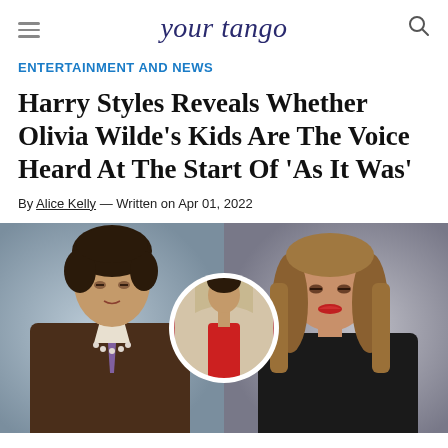your tango
ENTERTAINMENT AND NEWS
Harry Styles Reveals Whether Olivia Wilde's Kids Are The Voice Heard At The Start Of 'As It Was'
By Alice Kelly — Written on Apr 01, 2022
[Figure (photo): Photo collage of Harry Styles in brown suit (left), Harry Styles in red outfit in circular inset (center), and Olivia Wilde (right)]